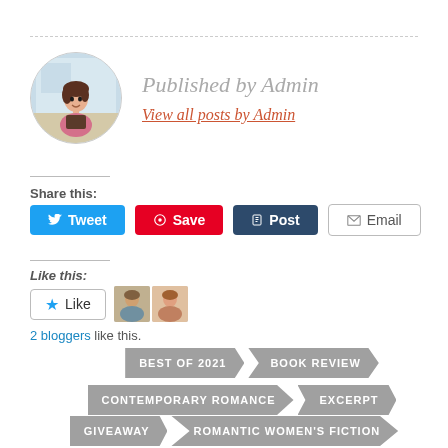Published by Admin
View all posts by Admin
Share this:
Tweet  Save  Post  Email
Like this:
Like
2 bloggers like this.
BEST OF 2021
BOOK REVIEW
CONTEMPORARY ROMANCE
EXCERPT
GIVEAWAY
ROMANTIC WOMEN'S FICTION